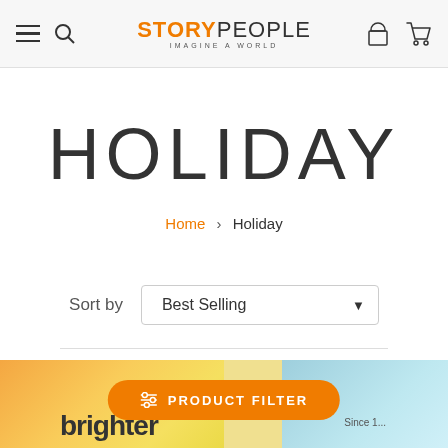StoryPeople — Imagine a World
HOLIDAY
Home > Holiday
Sort by  Best Selling
[Figure (screenshot): Product images partially visible at bottom of page with orange, yellow, and teal colors. Text 'brighter' and 'Since 1...' visible. Orange 'PRODUCT FILTER' button at bottom center.]